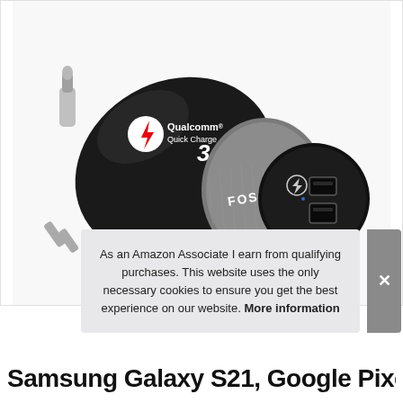[Figure (photo): A FosPower dual USB car charger with Qualcomm Quick Charge 3.0 branding, black and silver finish, shown at an angle with two USB ports visible on the front face.]
As an Amazon Associate I earn from qualifying purchases. This website uses the only necessary cookies to ensure you get the best experience on our website. More information
Samsung Galaxy S21, Google Pixel 5